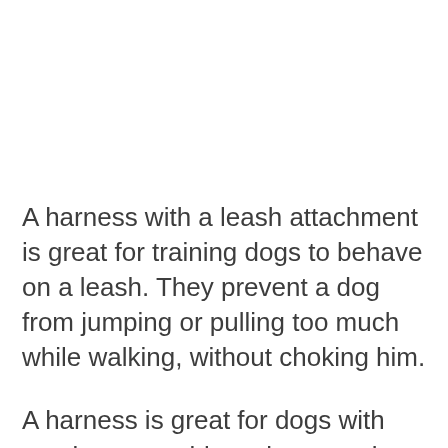A harness with a leash attachment is great for training dogs to behave on a leash. They prevent a dog from jumping or pulling too much while walking, without choking him.
A harness is great for dogs with respiratory problems because it prevents choking at a dog's neck when he pulls. It also gives you more